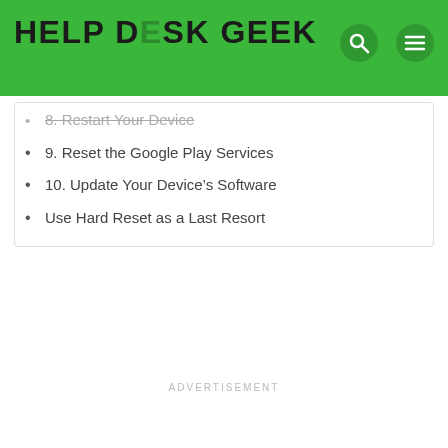HELP DESK GEEK
8. Restart Your Device
9. Reset the Google Play Services
10. Update Your Device’s Software
Use Hard Reset as a Last Resort
ADVERTISEMENT